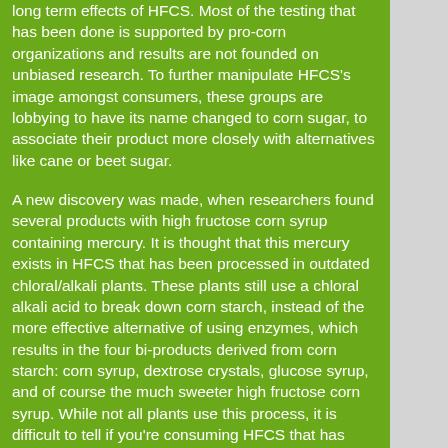long term effects of HFCS. Most of the testing that has been done is supported by pro-corn organizations and results are not founded on unbiased research. To further manipulate HFCS's image amongst consumers, these groups are lobbying to have its name changed to corn sugar, to associate their product more closely with alternatives like cane or beet sugar.
A new discovery was made, when researchers found several products with high fructose corn syrup containing mercury. It is thought that this mercury exists in HFCS that has been processed in outdated chloral/alkali plants. These plants still use a chloral alkali acid to break down corn starch, instead of the more effective alternative of using enzymes, which results in the four bi-products derived from corn starch: corn syrup, dextrose crystals, glucose syrup, and of course the much sweeter high fructose corn syrup. While not all plants use this process, it is difficult to tell if you're consuming HFCS that has been tainted by the choral alkali process. Food manufacturers don't publish which processing plants make the HFCS used in their products, and with the amount of processed foods made with HFCS, consumers have no idea whether or not they are ingesting the poisonous substance or what products it's coming from.